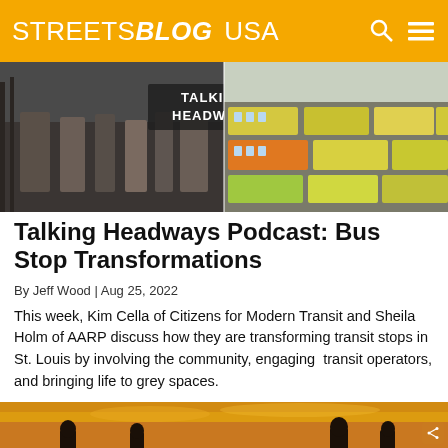STREETSBLOG USA
[Figure (photo): Composite image: left shows people waiting at a bus stop in an urban setting with 'TALKING HEADWAYS' overlay text; right shows a busy street with rows of colorful buses in traffic.]
Talking Headways Podcast: Bus Stop Transformations
By Jeff Wood | Aug 25, 2022
This week, Kim Cella of Citizens for Modern Transit and Sheila Holm of AARP discuss how they are transforming transit stops in St. Louis by involving the community, engaging  transit operators, and bringing life to grey spaces.
[Figure (photo): Silhouettes of people against a warm sunset sky, golden-orange tones.]